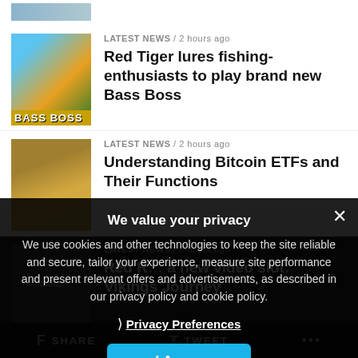[Figure (photo): Partial top image cropped, light blue/grey landscape]
LATEST NEWS / 2 hours ago
Red Tiger lures fishing-enthusiasts to play brand new Bass Boss
[Figure (photo): Bass Boss slot game image with character and logo]
LATEST NEWS / 2 hours ago
Understanding Bitcoin ETFs and Their Functions
[Figure (photo): Gold coins pile representing Bitcoin/ETFs]
LATEST NEWS / 2 hours ago
Red R... a new video slot: Vikings Journey
[Figure (photo): Viking themed video slot dark image]
LATEST NEWS / 2 hours ago
Arcadia Gaming Solutions becomes latest Fusion® partner
[Figure (logo): Arcadia Gaming Solutions logo on dark background]
We value your privacy
We use cookies and other technologies to keep the site reliable and secure, tailor your experience, measure site performance and present relevant offers and advertisements, as described in our privacy policy and cookie policy.
› Privacy Preferences
I Agree